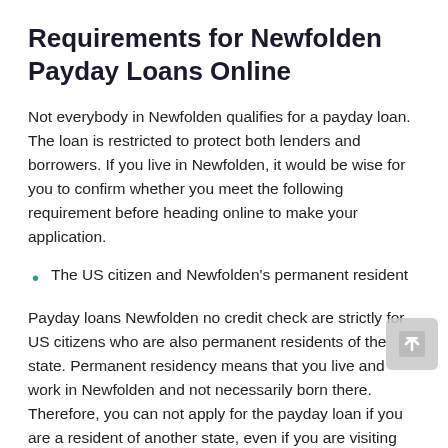Requirements for Newfolden Payday Loans Online
Not everybody in Newfolden qualifies for a payday loan. The loan is restricted to protect both lenders and borrowers. If you live in Newfolden, it would be wise for you to confirm whether you meet the following requirement before heading online to make your application.
The US citizen and Newfolden's permanent resident
Payday loans Newfolden no credit check are strictly for US citizens who are also permanent residents of the state. Permanent residency means that you live and work in Newfolden and not necessarily born there. Therefore, you can not apply for the payday loan if you are a resident of another state, even if you are visiting Newfolden.
You must be at least 18 years old to qualify for best payday loans in Newfolden